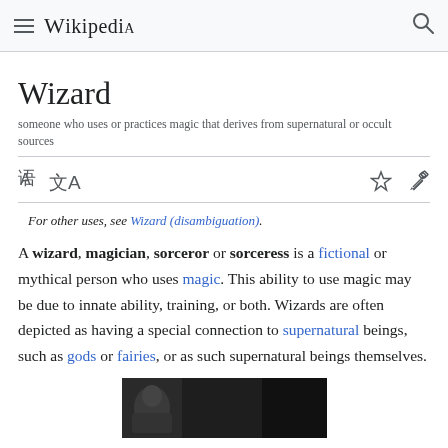Wikipedia
Wizard
someone who uses or practices magic that derives from supernatural or occult sources
For other uses, see Wizard (disambiguation).
A wizard, magician, sorceror or sorceress is a fictional or mythical person who uses magic. This ability to use magic may be due to innate ability, training, or both. Wizards are often depicted as having a special connection to supernatural beings, such as gods or fairies, or as such supernatural beings themselves.
[Figure (photo): Black and white photograph at the bottom of the page, partially visible]